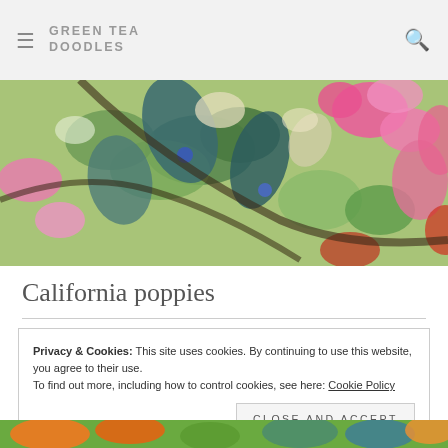GREEN TEA DOODLES
[Figure (illustration): Close-up painting of California poppies and flowers in pink, green, and blue brushstrokes — impressionistic oil painting style, hero banner image]
California poppies
Privacy & Cookies: This site uses cookies. By continuing to use this website, you agree to their use. To find out more, including how to control cookies, see here: Cookie Policy
Close and accept
[Figure (illustration): Bottom strip of another floral painting in orange, green, blue tones]